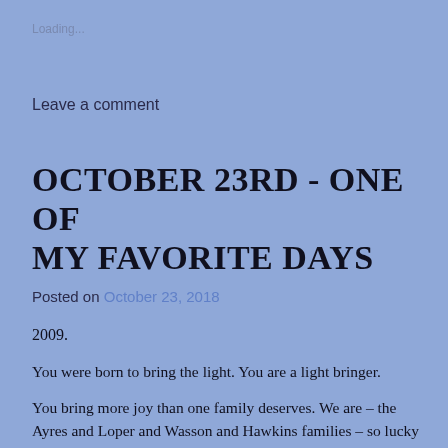Loading...
Leave a comment
OCTOBER 23RD - ONE OF MY FAVORITE DAYS
Posted on October 23, 2018
2009.
You were born to bring the light. You are a light bringer.
You bring more joy than one family deserves. We are – the Ayres and Loper and Wasson and Hawkins families – so lucky to have you. You, our Cooper Scott Ayres, our CooperDiddlyOoper, you are pure joy.